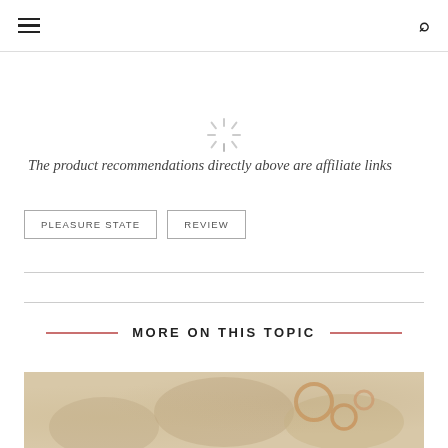[Figure (other): Loading spinner icon]
The product recommendations directly above are affiliate links
PLEASURE STATE
REVIEW
MORE ON THIS TOPIC
[Figure (photo): Photo of accessories/jewelry items on a light background]